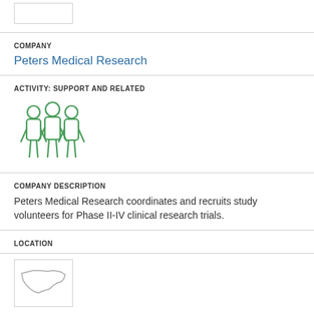[Figure (logo): Top logo placeholder box, white rectangle with light border]
COMPANY
Peters Medical Research
ACTIVITY: SUPPORT AND RELATED
[Figure (illustration): Green icon of three people/figures standing together]
COMPANY DESCRIPTION
Peters Medical Research coordinates and recruits study volunteers for Phase II-IV clinical research trials.
LOCATION
High Point
[Figure (illustration): Bottom card with North Carolina state shape outline in gray]